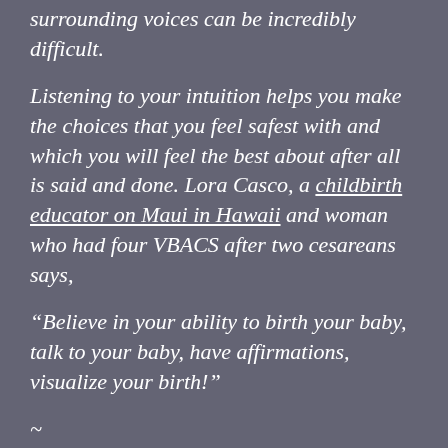research and opinions from so many surrounding voices can be incredibly difficult.
Listening to your intuition helps you make the choices that you feel safest with and which you will feel the best about after all is said and done. Lora Casco, a childbirth educator on Maui in Hawaii and woman who had four VBACS after two cesareans says,
“Believe in your ability to birth your baby, talk to your baby, have affirmations, visualize your birth!”
~